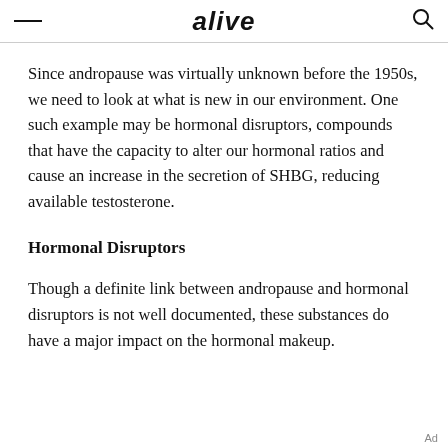alive
Since andropause was virtually unknown before the 1950s, we need to look at what is new in our environment. One such example may be hormonal disruptors, compounds that have the capacity to alter our hormonal ratios and cause an increase in the secretion of SHBG, reducing available testosterone.
Hormonal Disruptors
Though a definite link between andropause and hormonal disruptors is not well documented, these substances do have a major impact on the hormonal makeup.